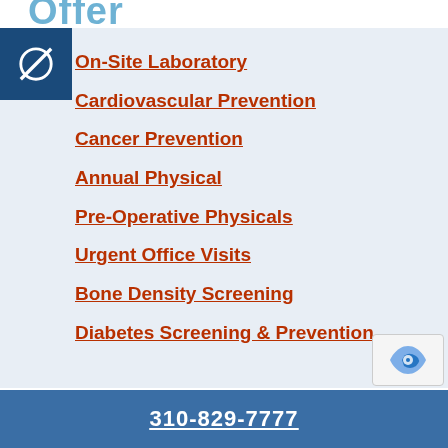Offer
On-Site Laboratory
Cardiovascular Prevention
Cancer Prevention
Annual Physical
Pre-Operative Physicals
Urgent Office Visits
Bone Density Screening
Diabetes Screening & Prevention
310-829-7777